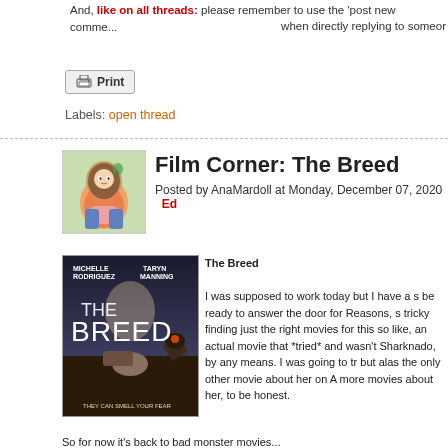And, like on all threads: please remember to use the 'post new comment' when directly replying to someone
[Figure (illustration): Print button with printer icon]
Labels: open thread
[Figure (illustration): Avatar cartoon illustration of a round character with brown hair and pink shirt]
Film Corner: The Breed
Posted by AnaMardoll at Monday, December 07, 2020   Ed
[Figure (photo): Movie poster for The Breed featuring Michelle Rodriguez and Taryn Manning. Shows dogs and a person. Tagline: THEY CAN SMELL YOUR FEAR]
The Breed

I was supposed to work today but I have a s be ready to answer the door for Reasons, s tricky finding just the right movies for this so like, an actual movie that *tried* and wasn't Sharknado, by any means. I was going to tr but alas the only other movie about her on A more movies about her, to be honest.
So for now it's back to bad monster movies...